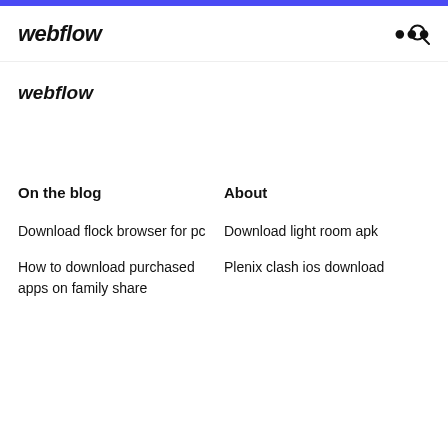webflow
webflow
On the blog
About
Download flock browser for pc
Download light room apk
How to download purchased apps on family share
Plenix clash ios download